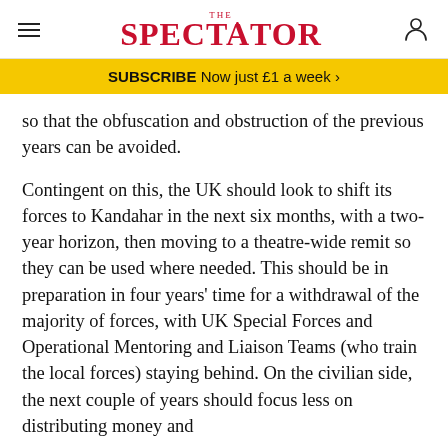THE SPECTATOR
SUBSCRIBE Now just £1 a week >
so that the obfuscation and obstruction of the previous years can be avoided.
Contingent on this, the UK should look to shift its forces to Kandahar in the next six months, with a two-year horizon, then moving to a theatre-wide remit so they can be used where needed. This should be in preparation in four years' time for a withdrawal of the majority of forces, with UK Special Forces and Operational Mentoring and Liaison Teams (who train the local forces) staying behind. On the civilian side, the next couple of years should focus less on distributing money and